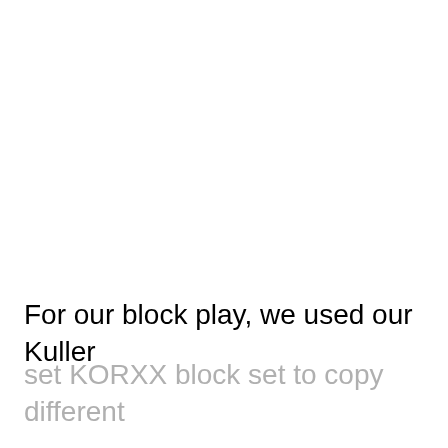For our block play, we used our Kuller
set KORXX block set to copy different